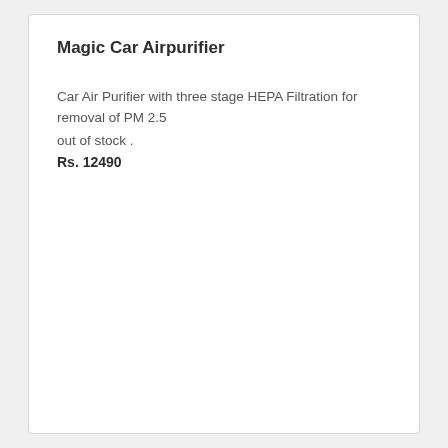Magic Car Airpurifier
Car Air Purifier with three stage HEPA Filtration for removal of PM 2.5
out of stock .
Rs. 12490